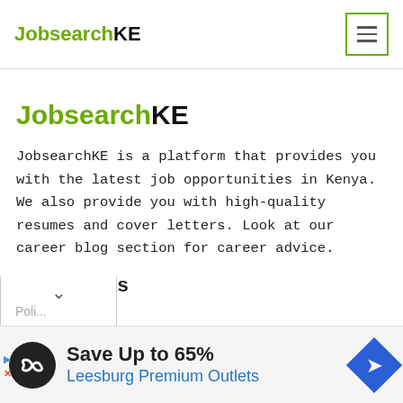JobsearchKE
JobsearchKE
JobsearchKE is a platform that provides you with the latest job opportunities in Kenya. We also provide you with high-quality resumes and cover letters. Look at our career blog section for career advice.
Quick Links
About Us
Contact
[Figure (screenshot): Advertisement banner: Save Up to 65% Leesburg Premium Outlets with logo icon and directional arrow diamond icon]